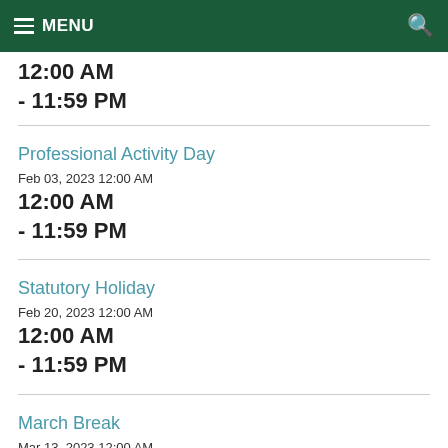MENU
12:00 AM
- 11:59 PM
Professional Activity Day
Feb 03, 2023 12:00 AM
12:00 AM
- 11:59 PM
Statutory Holiday
Feb 20, 2023 12:00 AM
12:00 AM
- 11:59 PM
March Break
Mar 13, 2023 12:00 AM
12:00 AM
- 11:59 PM